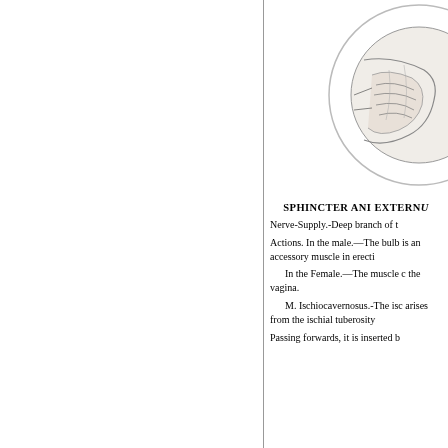[Figure (illustration): Partial anatomical illustration visible in the upper-right corner of the page, showing a cross-sectional or surface anatomy diagram, partially cropped.]
SPHINCTER ANI EXTERN...
Nerve-Supply.-Deep branch of t...
Actions. In the male.—The bulb... is an accessory muscle in erecti...
In the Female.—The muscle c... the vagina.
M. Ischiocavernosus.-The isc... arises from the ischial tuberosity...
Passing forwards, it is inserted b...